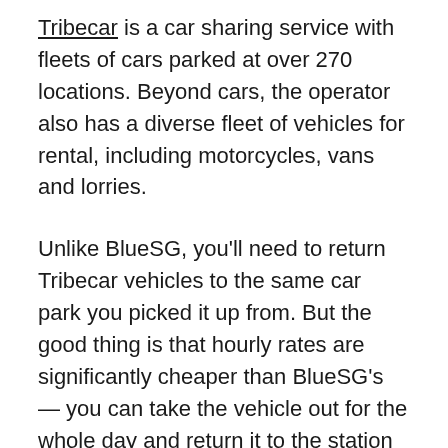Tribecar is a car sharing service with fleets of cars parked at over 270 locations. Beyond cars, the operator also has a diverse fleet of vehicles for rental, including motorcycles, vans and lorries.
Unlike BlueSG, you'll need to return Tribecar vehicles to the same car park you picked it up from. But the good thing is that hourly rates are significantly cheaper than BlueSG's — you can take the vehicle out for the whole day and return it to the station when you're done.
There's no membership system, but fees for an economy sedan are between $2.14 to $6.96 an